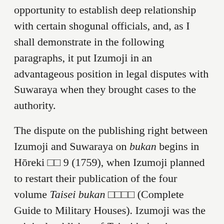opportunity to establish deep relationship with certain shogunal officials, and, as I shall demonstrate in the following paragraphs, it put Izumoji in an advantageous position in legal disputes with Suwaraya when they brought cases to the authority.
The dispute on the publishing right between Izumoji and Suwaraya on bukan begins in Hōreki □□ 9 (1759), when Izumoji planned to restart their publication of the four volume Taisei bukan □□□□ (Complete Guide to Military Houses). Izumoji was the original publisher of Taisei bukan in Genroku 13 (1700), but it lost the ownership of itakabu of it during the Kyōhō era (1716–1736), and the right eventually went to Yorozuya Seihē □□□□□ during the Genbun □□ era (1736–1741).[14] In Enkyō □□ 2 (1745), Tsubameya Yashichi □□□□ got the publishing right of Taisei bukan and reformatted it into